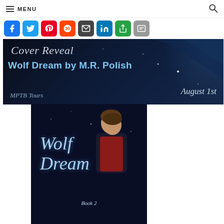MENU
[Figure (infographic): Social media share buttons: Facebook (blue), Twitter (light blue), Pinterest (red), Reddit (orange-red), Email (dark gray), LinkedIn (blue), Share (green), More (gray)]
[Figure (infographic): Cover Reveal banner image for Wolf Dream by M.R. Polish, August 1st, MPTB Tours. Dark blue fantasy background with dragon silhouette.]
[Figure (photo): Book cover for Wolf Dream Book 2 by M.R. Polish. Shows a young man looking down against a dark starry blue background with scripted title text.]